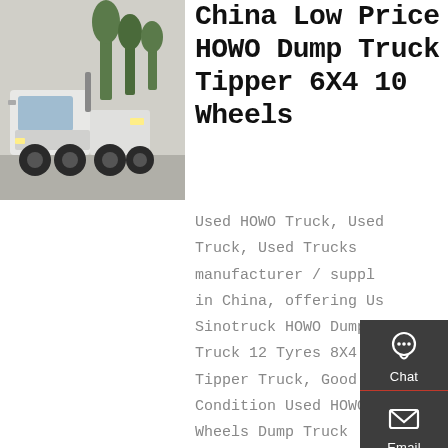[Figure (photo): White HOWO dump truck / tractor unit parked outdoors with trees in background]
China Low Price HOWO Dump Truck Tipper 6X4 10 Wheels
Used HOWO Truck, Used Truck, Used Trucks manufacturer / supplier in China, offering Used Sinotruck HOWO Dump Truck 12 Tyres 8X4 Tipper Truck, Good Condition Used HOWO 10 Wheels Dump Truck Tipper 6X4 for Africa, 371HP Excellent Condition Used